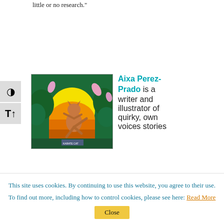little or no research."
[Figure (photo): Colorful illustration showing a cat doing a karate kick pose against a sunset background with green foliage]
Aixa Perez-Prado is a writer and illustrator of quirky, own voices stories
This site uses cookies. By continuing to use this website, you agree to their use.
To find out more, including how to control cookies, please see here: Read More
Close